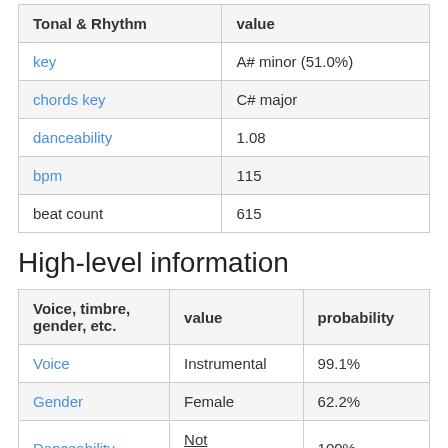| Tonal & Rhythm | value |
| --- | --- |
| key | A# minor (51.0%) |
| chords key | C# major |
| danceability | 1.08 |
| bpm | 115 |
| beat count | 615 |
High-level information
| Voice, timbre, gender, etc. | value | probability |
| --- | --- | --- |
| Voice | Instrumental | 99.1% |
| Gender | Female | 62.2% |
| Danceability | Not Danceable | 100% |